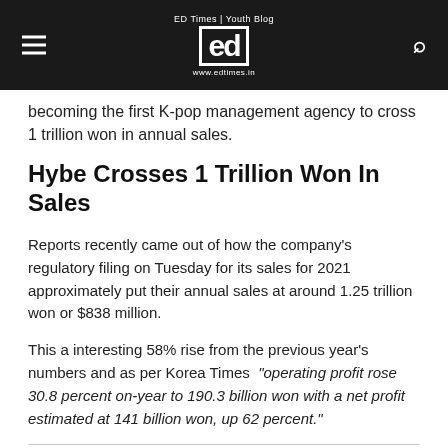ED Times | Youth Blog
becoming the first K-pop management agency to cross 1 trillion won in annual sales.
Hybe Crosses 1 Trillion Won In Sales
Reports recently came out of how the company's regulatory filing on Tuesday for its sales for 2021 approximately put their annual sales at around 1.25 trillion won or $838 million.
This a interesting 58% rise from the previous year's numbers and as per Korea Times “operating profit rose 30.8 percent on-year to 190.3 billion won with a net profit estimated at 141 billion won, up 62 percent.”